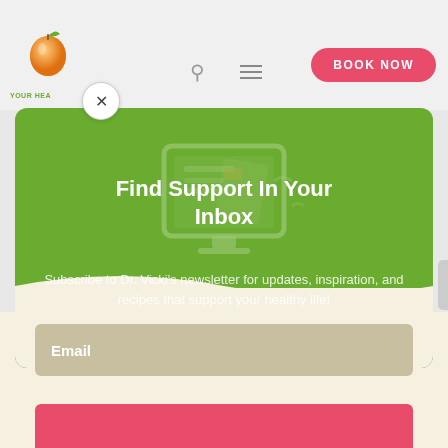YOUR HEALTH [logo/navbar area with search, menu, BOOK NOW]
[Figure (screenshot): Website popup modal with green background showing newsletter signup. Contains a computer/newsletter icon illustration, bold white title 'Find Support In Your Inbox', descriptive text about Dr. Vicki's newsletter, an email input field, and a pink call-to-action button at the bottom.]
Find Support In Your Inbox
Subscribe to Dr. Vicki's newsletter for updates, inspiration, and recipes that support your healthy life!
Email